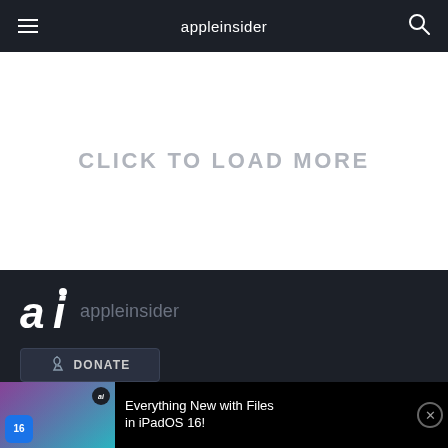appleinsider
CLICK TO LOAD MORE
[Figure (logo): AppleInsider 'ai' logo with brand name in gray text on dark background]
DONATE
[Figure (screenshot): Video banner showing 'Everything New with Files in iPadOS 16!' with thumbnail of person holding iPad, iOS 16 badge, and ai logo badge]